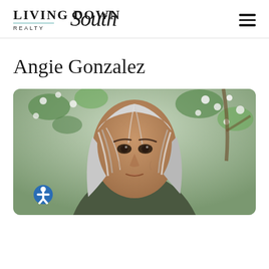[Figure (logo): Living Down South Realty logo with script 'South' text and hamburger menu icon]
Angie Gonzalez
[Figure (photo): Portrait photo of Angie Gonzalez, a woman with silver/gray hair, outdoors near flowering white blossoms and green leaves]